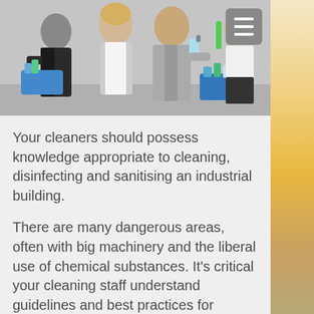[Figure (photo): Three people in business attire holding blue cleaning supply caddies and cleaning tools, with a hamburger menu icon in the top right corner of the image.]
Your cleaners should possess knowledge appropriate to cleaning, disinfecting and sanitising an industrial building.
There are many dangerous areas, often with big machinery and the liberal use of chemical substances. It's critical your cleaning staff understand guidelines and best practices for staying safe while cleaning in such hazardous areas.